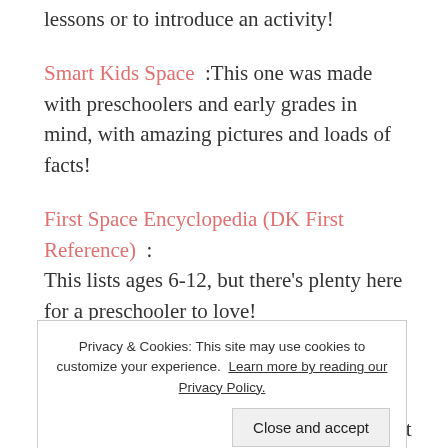lessons or to introduce an activity!
Smart Kids Space :This one was made with preschoolers and early grades in mind, with amazing pictures and loads of facts!
First Space Encyclopedia (DK First Reference) : This lists ages 6-12, but there's plenty here for a preschooler to love!
Space: A Visual Encyclopedia Geared toward older children (7-12), but the pictures are great
Privacy & Cookies: This site may use cookies to customize your experience. Learn more by reading our Privacy Policy.
Close and accept
NASA, you know this is going to be a great